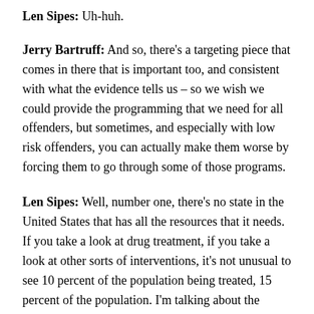Len Sipes:  Uh-huh.
Jerry Bartruff:  And so, there's a targeting piece that comes in there that is important too, and consistent with what the evidence tells us – so we wish we could provide the programming that we need for all offenders, but sometimes, and especially with low risk offenders, you can actually make them worse by forcing them to go through some of those programs.
Len Sipes:  Well, number one, there's no state in the United States that has all the resources that it needs.  If you take a look at drug treatment, if you take a look at other sorts of interventions, it's not unusual to see 10 percent of the population being treated, 15 percent of the population.  I'm talking about the population who needs it, not the overall